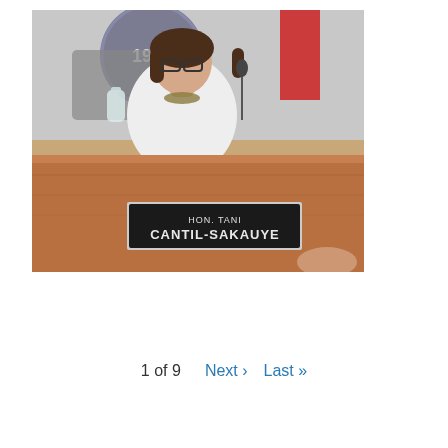[Figure (photo): Photo of Hon. Tani Cantil-Sakauye seated at a dais in a formal chamber setting. She is wearing a white jacket and beaded necklace with glasses. A name placard reading 'HON. TANI CANTIL-SAKAUYE' is visible on the wooden desk in front of her. A large seal marked '1926' and a red flag are visible in the background.]
1 of 9   Next ›   Last »